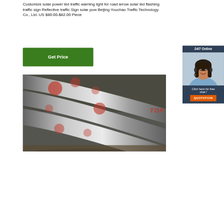Customize solar power led traffic warning light for road arrow solar led flashing traffic sign Reflective traffic Sign solar pow Beijing Youchao Traffic Technology Co., Ltd. US $80.00-$82.00 Piece
[Figure (other): Green 'Get Price' button]
[Figure (other): Sidebar widget with '24/7 Online' header, photo of woman with headset, 'Click here for free chat!' text, and orange QUOTATION button]
[Figure (photo): Photo of metal steel round bars/rods stacked on a surface, industrial setting]